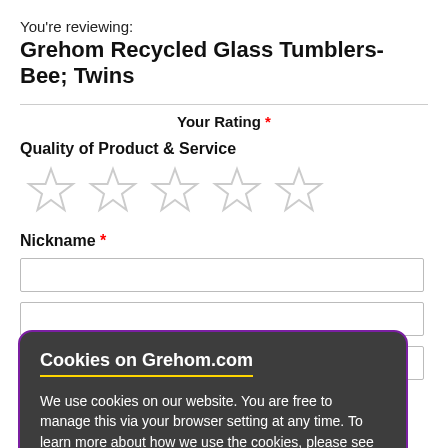You're reviewing:
Grehom Recycled Glass Tumblers- Bee; Twins
Your Rating *
Quality of Product & Service
[Figure (other): Five empty star rating icons in a row]
Nickname *
[Figure (screenshot): Cookie consent modal overlay on Grehom.com with title 'Cookies on Grehom.com', body text about cookie policy, and two buttons: OK and Cookie Policy]